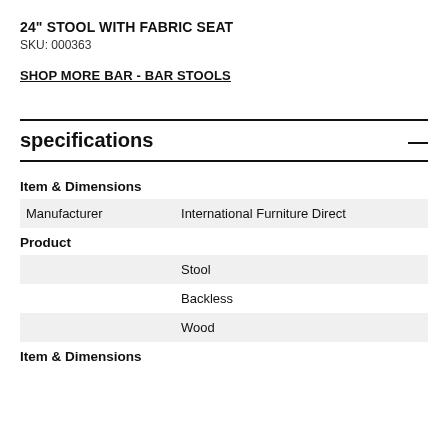24" STOOL WITH FABRIC SEAT
SKU: 000363
SHOP MORE BAR - BAR STOOLS
specifications
| Item & Dimensions |  |
| Manufacturer | International Furniture Direct |
| Product |  |
|  | Stool |
|  | Backless |
|  | Wood |
| Item & Dimensions |  |